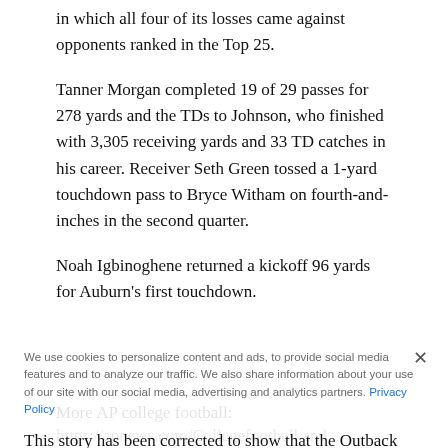in which all four of its losses came against opponents ranked in the Top 25.
Tanner Morgan completed 19 of 29 passes for 278 yards and the TDs to Johnson, who finished with 3,305 receiving yards and 33 TD catches in his career. Receiver Seth Green tossed a 1-yard touchdown pass to Bryce Witham on fourth-and-inches in the second quarter.
Noah Igbinoghene returned a kickoff 96 yards for Auburn’s first touchdown.
This story has been corrected to show that the Outback Bowl score was 31-24, not 31-9.
More AP college football:
https://apnews.com/Collegefootball and